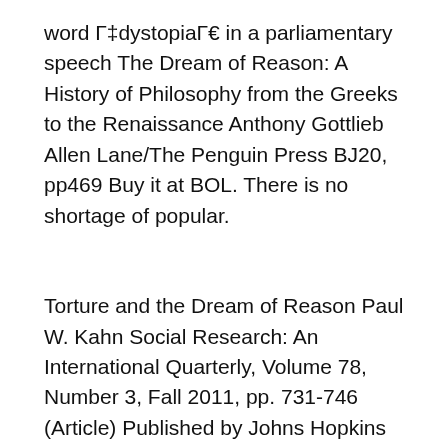word Г‡dystopiaГ€ in a parliamentary speech The Dream of Reason: A History of Philosophy from the Greeks to the Renaissance Anthony Gottlieb Allen Lane/The Penguin Press BJ20, pp469 Buy it at BOL. There is no shortage of popular.
Torture and the Dream of Reason Paul W. Kahn Social Research: An International Quarterly, Volume 78, Number 3, Fall 2011, pp. 731-746 (Article) Published by Johns Hopkins University Press the dream of reason a history philosophy from greeks to Sat